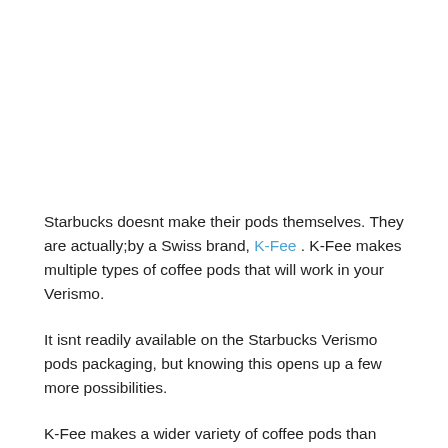Starbucks doesnt make their pods themselves. They are actually;by a Swiss brand, K-Fee . K-Fee makes multiple types of coffee pods that will work in your Verismo.
It isnt readily available on the Starbucks Verismo pods packaging, but knowing this opens up a few more possibilities.
K-Fee makes a wider variety of coffee pods than Starbucks offers, and at a much lower price than Verismo-branded pods